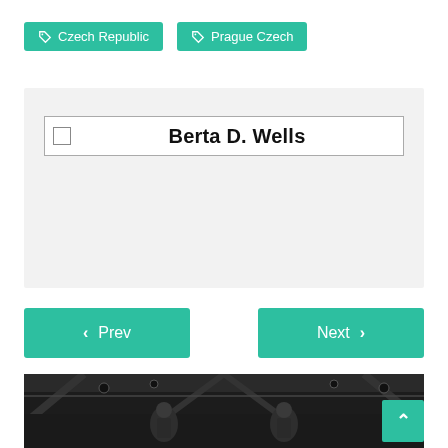Czech Republic
Prague Czech
Berta D. Wells
< Prev
Next >
[Figure (photo): Two people in dark uniforms standing inside a large hall with wooden ceiling beams and stage lighting above them.]